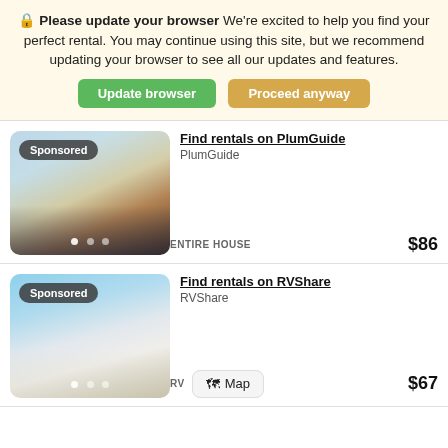Please update your browser We're excited to help you find your perfect rental. You may continue using this site, but we recommend updating your browser to see all our updates and features.
Update browser
Proceed anyway
Find rentals on PlumGuide
PlumGuide
ENTIRE HOUSE   $86
Find rentals on RVShare
RVShare
RV   Map   $67